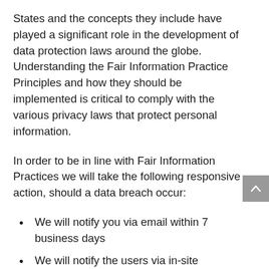States and the concepts they include have played a significant role in the development of data protection laws around the globe. Understanding the Fair Information Practice Principles and how they should be implemented is critical to comply with the various privacy laws that protect personal information.
In order to be in line with Fair Information Practices we will take the following responsive action, should a data breach occur:
We will notify you via email within 7 business days
We will notify the users via in-site notification within 7 business days
We also agree to the Individual Redress